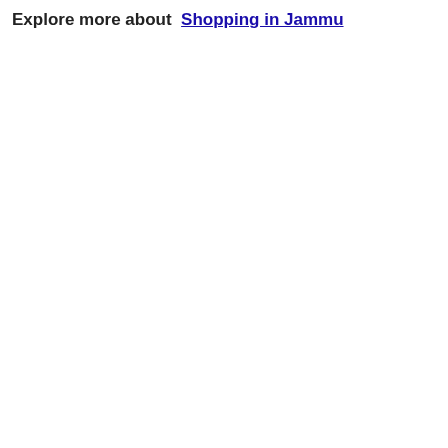Explore more about  Shopping in Jammu